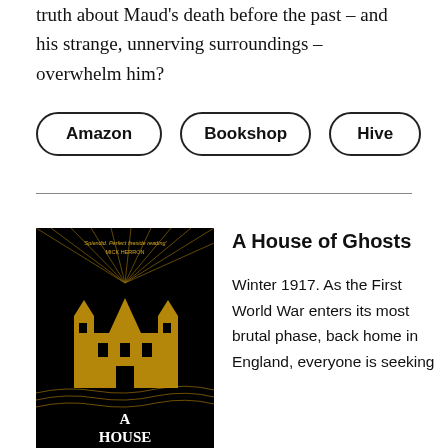truth about Maud's death before the past – and his strange, unnerving surroundings – overwhelm him?
Amazon
Bookshop
Hive
[Figure (illustration): Book cover of 'A House of Ghosts' — black background with golden illustration of a large gothic manor house with towers, rays of light, and the text 'A House' at the bottom. Quote at top: 'Splendid. Perfect fireside reading' — Mick Herron.]
A House of Ghosts
Winter 1917. As the First World War enters its most brutal phase, back home in England, everyone is seeking